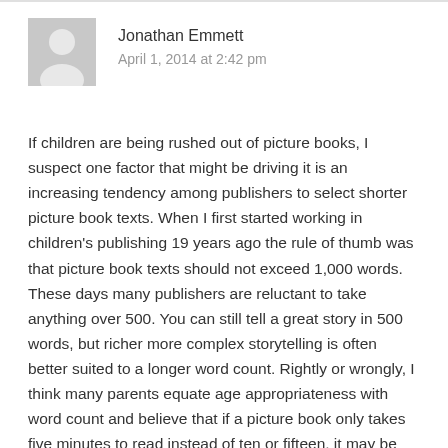[Figure (illustration): Generic user avatar icon — grey rounded rectangle with a white silhouette of a person]
Jonathan Emmett
April 1, 2014 at 2:42 pm
If children are being rushed out of picture books, I suspect one factor that might be driving it is an increasing tendency among publishers to select shorter picture book texts. When I first started working in children's publishing 19 years ago the rule of thumb was that picture book texts should not exceed 1,000 words. These days many publishers are reluctant to take anything over 500. You can still tell a great story in 500 words, but richer more complex storytelling is often better suited to a longer word count. Rightly or wrongly, I think many parents equate age appropriateness with word count and believe that if a picture book only takes five minutes to read instead of ten or fifteen, it may be time to move the child along to something more “challenging”. I've nothing against short picture books. My favourite picture